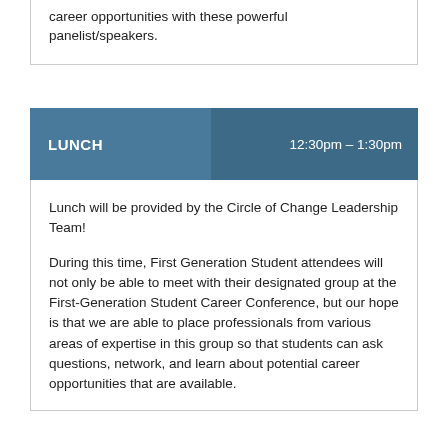career opportunities with these powerful panelist/speakers.
LUNCH  12:30pm – 1:30pm
Lunch will be provided by the Circle of Change Leadership Team!

During this time, First Generation Student attendees will not only be able to meet with their designated group at the First-Generation Student Career Conference, but our hope is that we are able to place professionals from various areas of expertise in this group so that students can ask questions, network, and learn about potential career opportunities that are available.